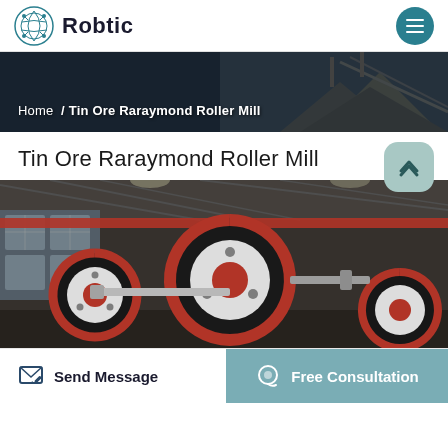Robtic
[Figure (screenshot): Breadcrumb banner with industrial mining/aggregate conveyor background image, dark overlay. Text reads: Home / Tin Ore Raraymond Roller Mill]
Tin Ore Raraymond Roller Mill
[Figure (photo): Industrial factory photo showing large red, white and black roller mill wheels/pulleys in a manufacturing facility with steel roof structure and windows in the background]
Send Message  |  Free Consultation